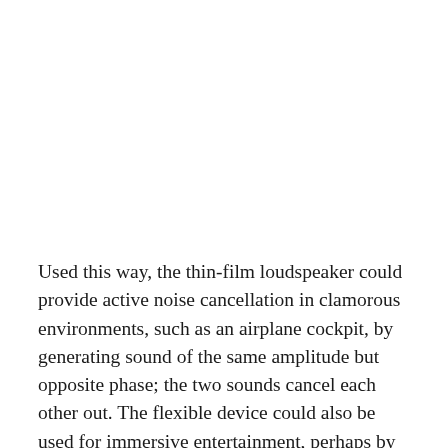Used this way, the thin-film loudspeaker could provide active noise cancellation in clamorous environments, such as an airplane cockpit, by generating sound of the same amplitude but opposite phase; the two sounds cancel each other out. The flexible device could also be used for immersive entertainment, perhaps by providing three-dimensional audio in a theater or theme park ride. And because it is lightweight and requires such a small amount of power to operate, the